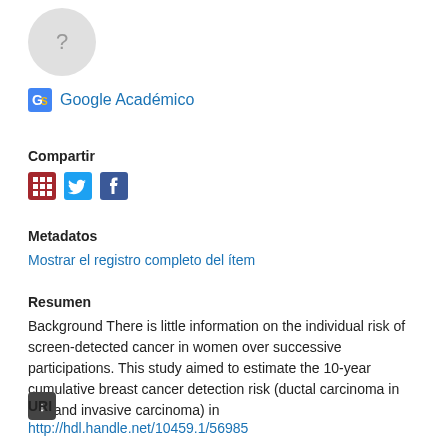[Figure (illustration): Circular avatar placeholder with a question mark symbol on grey background]
Google Académico
Compartir
[Figure (illustration): Social share icons: Mendeley (red grid), Twitter (blue bird), Facebook (blue f)]
Metadatos
Mostrar el registro completo del ítem
Resumen
Background There is little information on the individual risk of screen-detected cancer in women over successive participations. This study aimed to estimate the 10-year cumulative breast cancer detection risk (ductal carcinoma in situ and invasive carcinoma) in
URI
http://hdl.handle.net/10459.1/56985